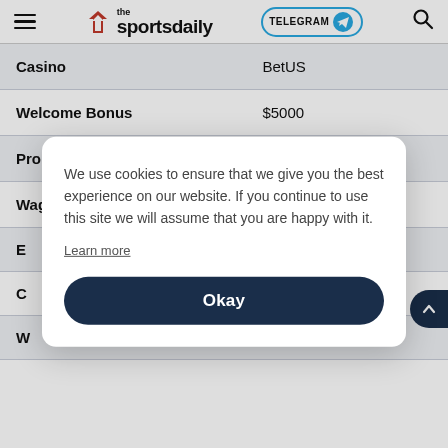the sportsdaily | TELEGRAM | search
| Casino | BetUS |
| Welcome Bonus | $5000 |
| Promo Code | CAS150 |
| Wagering Requirement | 30x |
We use cookies to ensure that we give you the best experience on our website. If you continue to use this site we will assume that you are happy with it.
Learn more
Okay